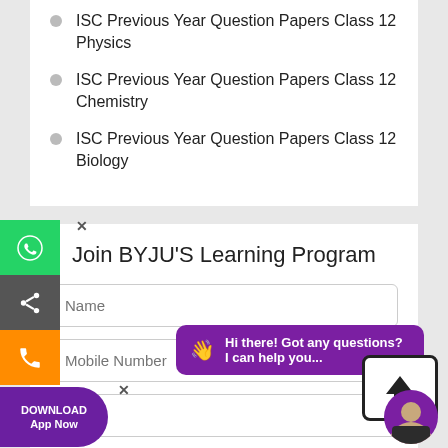ISC Previous Year Question Papers Class 12 Physics
ISC Previous Year Question Papers Class 12 Chemistry
ISC Previous Year Question Papers Class 12 Biology
Join BYJU'S Learning Program
Name
Mobile Number
City
Grade/Exam
[Figure (screenshot): Chat popup with text: Hi there! Got any questions? I can help you...]
[Figure (screenshot): Upload/share arrow icon button box]
DOWNLOAD App Now